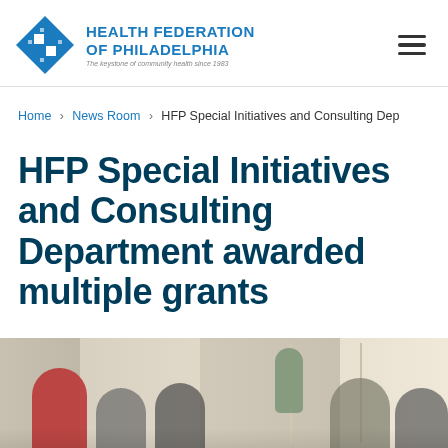[Figure (logo): Health Federation of Philadelphia logo — blue diamond with H checkered pattern, bold blue text 'HEALTH FEDERATION OF PHILADELPHIA', tagline 'The keystone of community health since 1983']
Home > News Room > HFP Special Initiatives and Consulting Dep
HFP Special Initiatives and Consulting Department awarded multiple grants
[Figure (photo): Photo of a meeting room with multiple people seated around tables, windows in background, one person in red standing]